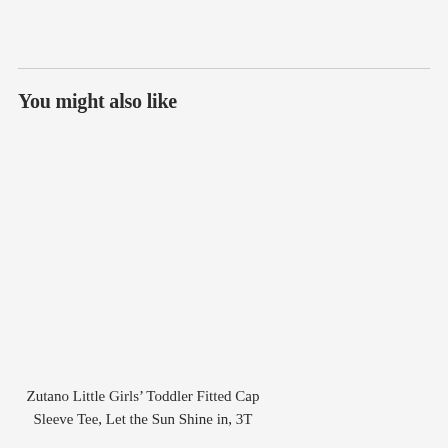You might also like
Zutano Little Girls' Toddler Fitted Cap Sleeve Tee, Let the Sun Shine in, 3T